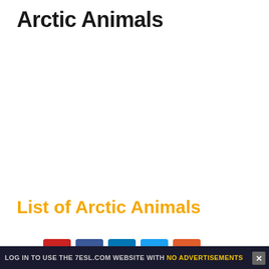Arctic Animals
List of Arctic Animals
[Figure (other): Social share buttons bar: Pinterest (red), Facebook (dark blue), LinkedIn (blue), Twitter (light blue), another share (orange), with share count 620]
LOG IN TO USE THE 7ESL.COM WEBSITE WITH NO ADVERTISEMENTS